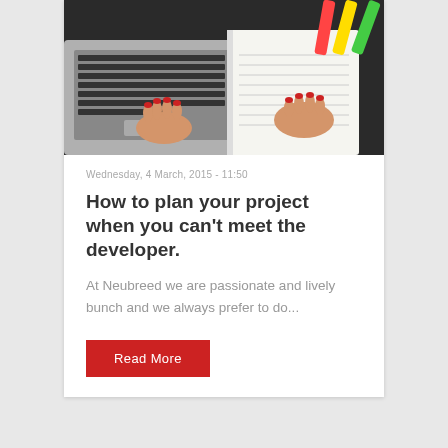[Figure (photo): Overhead view of a person with red nail polish using a MacBook laptop on a dark desk, with colorful markers and a notepad with writing visible nearby.]
Wednesday, 4 March, 2015 - 11:50
How to plan your project when you can't meet the developer.
At Neubreed we are passionate and lively bunch and we always prefer to do...
Read More